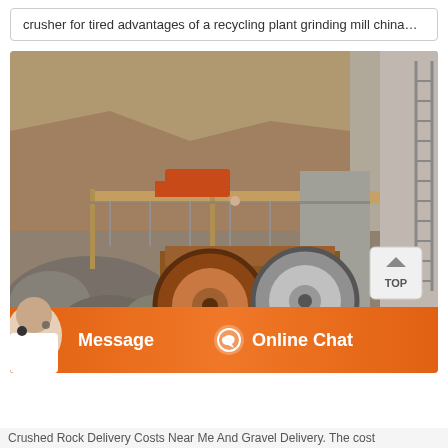crusher for tired advantages of a recycling plant grinding mill china…
[Figure (photo): Outdoor industrial rock crushing plant with large jaw crusher machinery featuring two flywheels, scaffolding platform, concrete wall structure with ladder, excavator in upper area, rocky hillside background]
Message   Online Chat
Crushed Rock Delivery Costs Near Me And Gravel Delivery. The cost